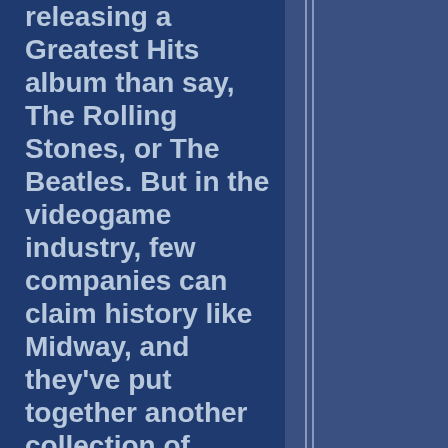legitimately releasing a Greatest Hits album than say, The Rolling Stones, or The Beatles. But in the videogame industry, few companies can claim history like Midway, and they've put together another collection of classics to let us gamers relive the old-school